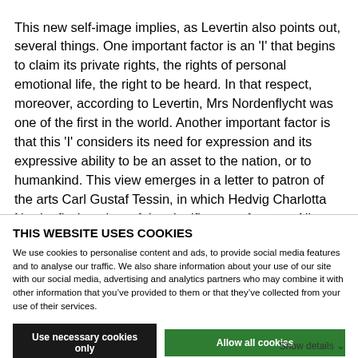This new self-image implies, as Levertin also points out, several things. One important factor is an 'I' that begins to claim its private rights, the rights of personal emotional life, the right to be heard. In that respect, moreover, according to Levertin, Mrs Nordenflycht was one of the first in the world. Another important factor is that this 'I' considers its need for expression and its expressive ability to be an asset to the nation, or to humankind. This view emerges in a letter to patron of the arts Carl Gustaf Tessin, in which Hedvig Charlotta Nordenflycht writes of the significance of poetry. All “civilised people”, she writes,
THIS WEBSITE USES COOKIES
We use cookies to personalise content and ads, to provide social media features and to analyse our traffic. We also share information about your use of our site with our social media, advertising and analytics partners who may combine it with other information that you’ve provided to them or that they’ve collected from your use of their services.
Use necessary cookies only
Allow all cookies
Show details ⌄